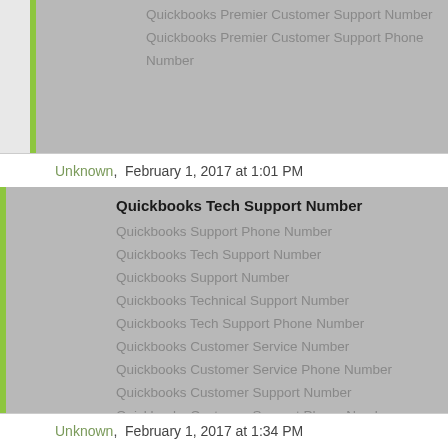Quickbooks Premier Customer Support Number
Quickbooks Premier Customer Support Phone Number
Unknown,  February 1, 2017 at 1:01 PM
Quickbooks Tech Support Number
Quickbooks Support Phone Number
Quickbooks Tech Support Number
Quickbooks Support Number
Quickbooks Technical Support Number
Quickbooks Tech Support Phone Number
Quickbooks Customer Service Number
Quickbooks Customer Service Phone Number
Quickbooks Customer Support Number
Quickbooks Customer Support Phone Number
Quickbooks Help Desk Phone Number
Quickbooks Help Desk Number
Unknown,  February 1, 2017 at 1:34 PM